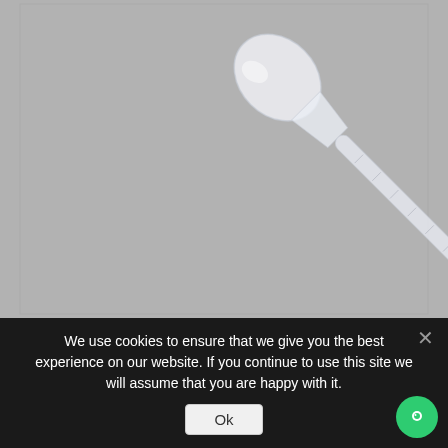[Figure (photo): A plastic disposable transfer pipette (Pasteur pipette) shown diagonally on a light gray background. The pipette has a bulb at the top right and a long thin stem extending to the lower left, made of translucent white plastic with graduation markings.]
We use cookies to ensure that we give you the best experience on our website. If you continue to use this site we will assume that you are happy with it.